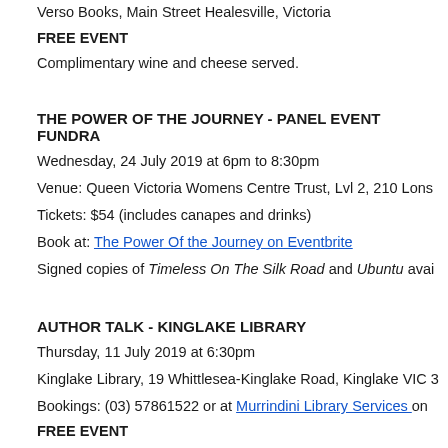Verso Books, Main Street Healesville, Victoria
FREE EVENT
Complimentary wine and cheese served.
THE POWER OF THE JOURNEY - PANEL EVENT FUNDRA...
Wednesday, 24 July 2019 at 6pm to 8:30pm
Venue: Queen Victoria Womens Centre Trust, Lvl 2, 210 Lons...
Tickets: $54 (includes canapes and drinks)
Book at: The Power Of the Journey on Eventbrite
Signed copies of Timeless On The Silk Road and Ubuntu avai...
AUTHOR TALK - KINGLAKE LIBRARY
Thursday, 11 July 2019 at 6:30pm
Kinglake Library, 19 Whittlesea-Kinglake Road, Kinglake VIC 3...
Bookings: (03) 57861522 or at Murrindini Library Services on ...
FREE EVENT
Signed copies of Timeless On The Silk Road and Ubuntu avai...